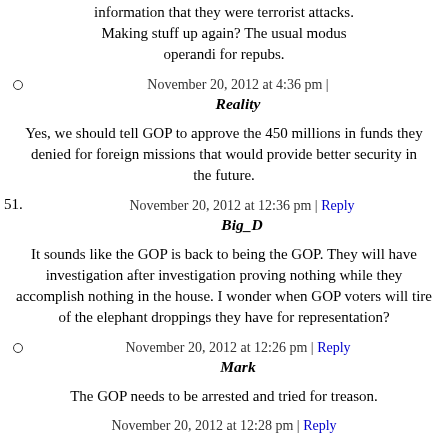information that they were terrorist attacks. Making stuff up again? The usual modus operandi for repubs.
November 20, 2012 at 4:36 pm |
Reality
Yes, we should tell GOP to approve the 450 millions in funds they denied for foreign missions that would provide better security in the future.
November 20, 2012 at 12:36 pm | Reply
51. Big_D
It sounds like the GOP is back to being the GOP. They will have investigation after investigation proving nothing while they accomplish nothing in the house. I wonder when GOP voters will tire of the elephant droppings they have for representation?
November 20, 2012 at 12:26 pm | Reply
Mark
The GOP needs to be arrested and tried for treason.
November 20, 2012 at 12:28 pm | Reply